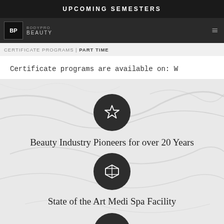UPCOMING SEMESTERS
BODYPRO BEAUTY
CERTIFICATE PROGRAMS | PART TIME
Certificate programs are available on: W
[Figure (illustration): Dark circle with white star outline icon on marble background]
Beauty Industry Pioneers for over 20 Years
[Figure (illustration): Dark circle with white 3D cube/CodePen icon on marble background]
State of the Art Medi Spa Facility
[Figure (illustration): Dark circle with white person/profile icon, partially visible at bottom]